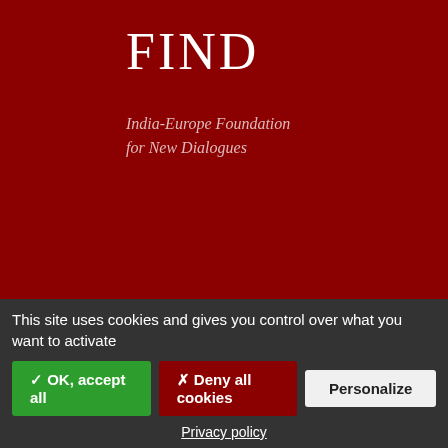FIND
India-Europe Foundation for New Dialogues
[Figure (illustration): Three social media icons (Facebook, SoundCloud, Vimeo) as white circles on dark red background]
Representative Bureau - Paris
129, rue Saint-Martin
75004 Paris
France
Phone: +33 (0)9 50 48 33 60
Head Office - Lausanne
This site uses cookies and gives you control over what you want to activate
✓ OK, accept all
✗ Deny all cookies
Personalize
Privacy policy